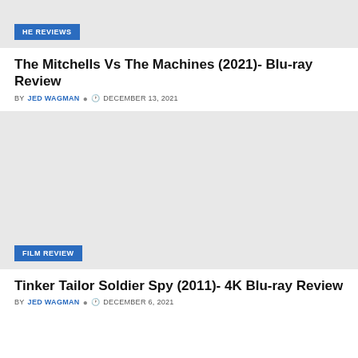[Figure (photo): Gray placeholder image for The Mitchells Vs The Machines article with HE REVIEWS badge]
The Mitchells Vs The Machines (2021)- Blu-ray Review
BY JED WAGMAN   DECEMBER 13, 2021
[Figure (photo): Gray placeholder image for Tinker Tailor Soldier Spy article with FILM REVIEW badge]
Tinker Tailor Soldier Spy (2011)- 4K Blu-ray Review
BY JED WAGMAN   DECEMBER 6, 2021